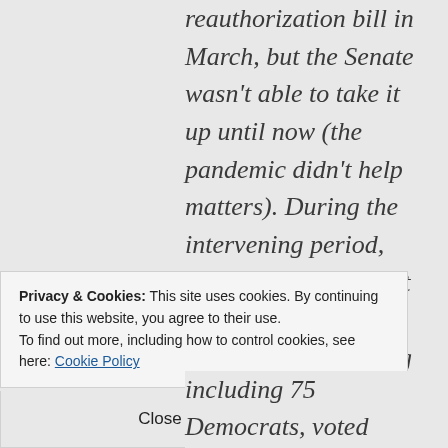reauthorization bill in March, but the Senate wasn't able to take it up until now (the pandemic didn't help matters). During the intervening period, the USA Freedom Act expired, which makes its renewal a pressing issue. The House's bill included some reforms, like forbidding the warrantless collection of Americans' phone records and cell
Privacy & Cookies: This site uses cookies. By continuing to use this website, you agree to their use.
To find out more, including how to control cookies, see here: Cookie Policy
Close and accept
including 75 Democrats, voted